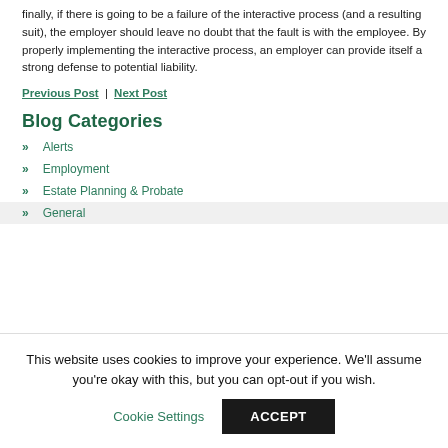finally, if there is going to be a failure of the interactive process (and a resulting suit), the employer should leave no doubt that the fault is with the employee. By properly implementing the interactive process, an employer can provide itself a strong defense to potential liability.
Previous Post | Next Post
Blog Categories
Alerts
Employment
Estate Planning & Probate
General
This website uses cookies to improve your experience. We'll assume you're okay with this, but you can opt-out if you wish. Cookie Settings ACCEPT